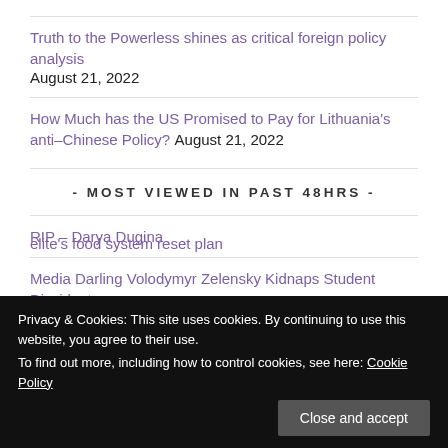Truth to the Powerless shines as critical foreign policy analysis August 21, 2022
How Much has the US Promised to Pay for Lithuania's anti–Chinese Policy? August 21, 2022
- MOST VIEWED IN PAST 48HRS -
RIP – Darya Dugina
Media Darling Volodymyr Zelensky Kidnaps Student Dissidents, Bans Opposition Parties, Shuts Down Independent Media
elite's food system reset plan
Privacy & Cookies: This site uses cookies. By continuing to use this website, you agree to their use. To find out more, including how to control cookies, see here: Cookie Policy
Close and accept